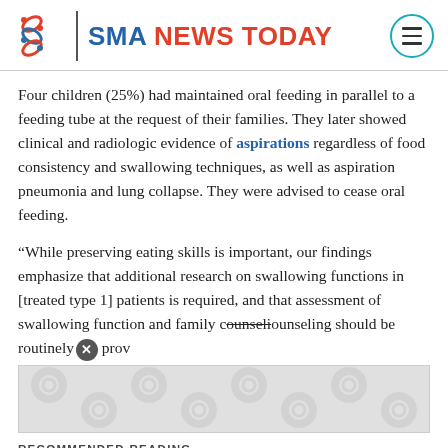SMA NEWS TODAY
Four children (25%) had maintained oral feeding in parallel to a feeding tube at the request of their families. They later showed clinical and radiologic evidence of aspirations regardless of food consistency and swallowing techniques, as well as aspiration pneumonia and lung collapse. They were advised to cease oral feeding.
“While preserving eating skills is important, our findings emphasize that additional research on swallowing functions in [treated type 1] patients is required, and that assessment of swallowing function and family counseling should be routinely prov
[Figure (other): Advertisement/overlay banner with SMA News Today logo pattern background]
RECOMMENDED READING